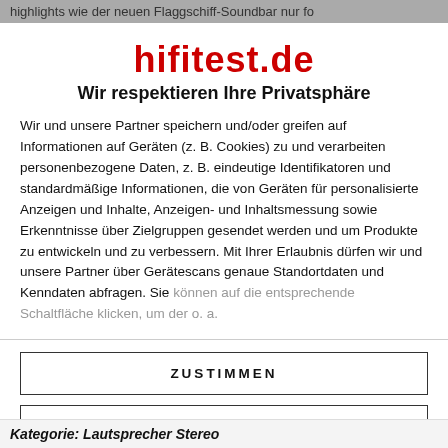highlights wie der neuen Flaggschiff-Soundbar nur fo
[Figure (logo): hifitest.de logo in bold red text]
Wir respektieren Ihre Privatsphäre
Wir und unsere Partner speichern und/oder greifen auf Informationen auf Geräten (z. B. Cookies) zu und verarbeiten personenbezogene Daten, z. B. eindeutige Identifikatoren und standardmäßige Informationen, die von Geräten für personalisierte Anzeigen und Inhalte, Anzeigen- und Inhaltsmessung sowie Erkenntnisse über Zielgruppen gesendet werden und um Produkte zu entwickeln und zu verbessern. Mit Ihrer Erlaubnis dürfen wir und unsere Partner über Gerätescans genaue Standortdaten und Kenndaten abfragen. Sie können auf die entsprechende Schaltfläche klicken, um der o. a.
ZUSTIMMEN
MEHR OPTIONEN
Kategorie: Lautsprecher Stereo